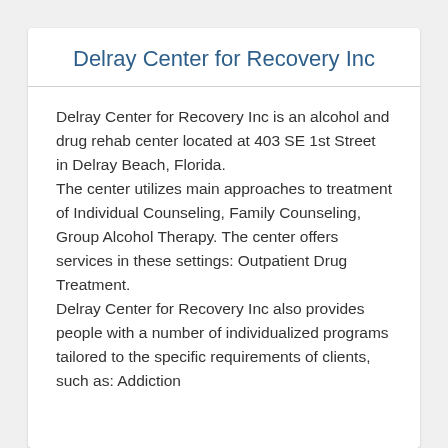Delray Center for Recovery Inc
Delray Center for Recovery Inc is an alcohol and drug rehab center located at 403 SE 1st Street in Delray Beach, Florida.
The center utilizes main approaches to treatment of Individual Counseling, Family Counseling, Group Alcohol Therapy. The center offers services in these settings: Outpatient Drug Treatment.
Delray Center for Recovery Inc also provides people with a number of individualized programs tailored to the specific requirements of clients, such as: Addiction